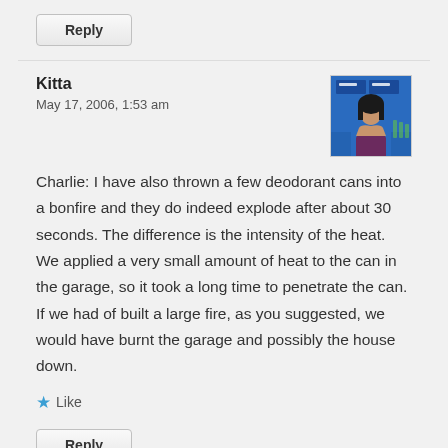Reply
Kitta
May 17, 2006, 1:53 am
[Figure (photo): Avatar thumbnail of a woman with dark hair on a blue TV studio background]
Charlie: I have also thrown a few deodorant cans into a bonfire and they do indeed explode after about 30 seconds. The difference is the intensity of the heat. We applied a very small amount of heat to the can in the garage, so it took a long time to penetrate the can. If we had of built a large fire, as you suggested, we would have burnt the garage and possibly the house down.
Like
Reply